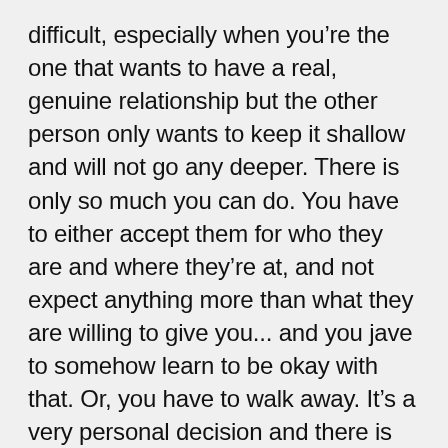difficult, especially when you're the one that wants to have a real, genuine relationship but the other person only wants to keep it shallow and will not go any deeper. There is only so much you can do. You have to either accept them for who they are and where they're at, and not expect anything more than what they are willing to give you... and you jave to somehow learn to be okay with that. Or, you have to walk away. It's a very personal decision and there is no right or wrong and it, unless it is causing you to compromise your faith, or unless the Holy Spirit leads you in a particular direction. The best of luck to you, keep the faith, keep your